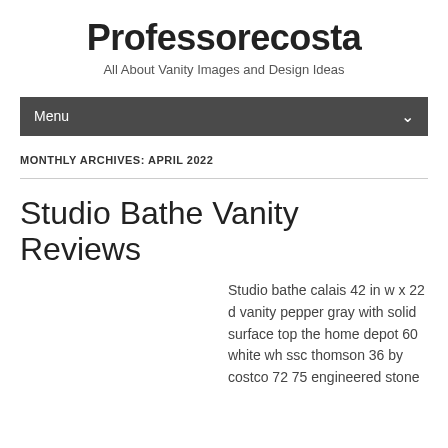Professorecosta
All About Vanity Images and Design Ideas
Menu
MONTHLY ARCHIVES: APRIL 2022
Studio Bathe Vanity Reviews
Studio bathe calais 42 in w x 22 d vanity pepper gray with solid surface top the home depot 60 white wh ssc thomson 36 by costco 72 75 engineered stone